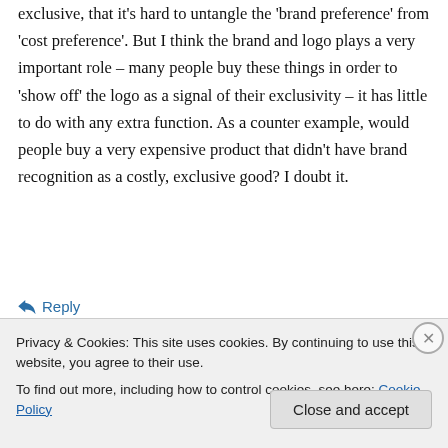exclusive, that it's hard to untangle the 'brand preference' from 'cost preference'. But I think the brand and logo plays a very important role – many people buy these things in order to 'show off' the logo as a signal of their exclusivity – it has little to do with any extra function. As a counter example, would people buy a very expensive product that didn't have brand recognition as a costly, exclusive good? I doubt it.
↩ Reply
Privacy & Cookies: This site uses cookies. By continuing to use this website, you agree to their use.
To find out more, including how to control cookies, see here: Cookie Policy
Close and accept